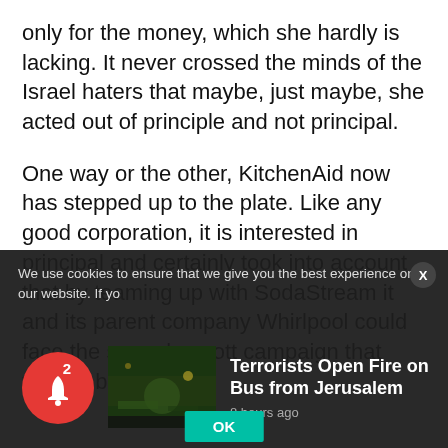only for the money, which she hardly is lacking. It never crossed the minds of the Israel haters that maybe, just maybe, she acted out of principle and not principal.
One way or the other, KitchenAid now has stepped up to the plate. Like any good corporation, it is interested in principal and certainly took into account that by teaming up with SodaStream it and its parent company Whirlpool could face the same boycott campaign that tried to bring
We use cookies to ensure that we give you the best experience on our website. If yo
[Figure (screenshot): News thumbnail showing a dark outdoor scene, possibly a bus or street scene at night]
Terrorists Open Fire on Bus from Jerusalem
8 hours ago